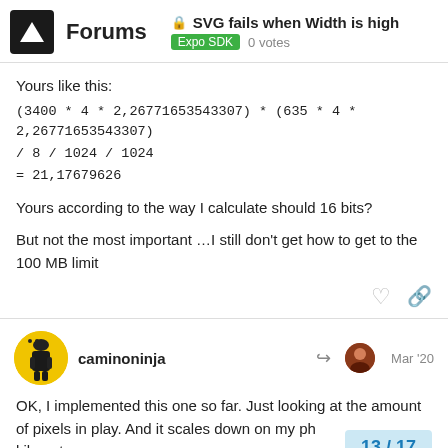Forums — SVG fails when Width is high — Expo SDK — 0 votes
Yours like this:
(3400 * 4 * 2,26771653543307) * (635 * 4 * 2,26771653543307) / 8 / 1024 / 1024
= 21,17679626

Yours according to the way I calculate should 16 bits?

But not the most important …I still don't get how to get to the 100 MB limit
caminoninja — Mar '20
OK, I implemented this one so far. Just looking at the amount of pixels in play. And it scales down on my ph… kilometers.